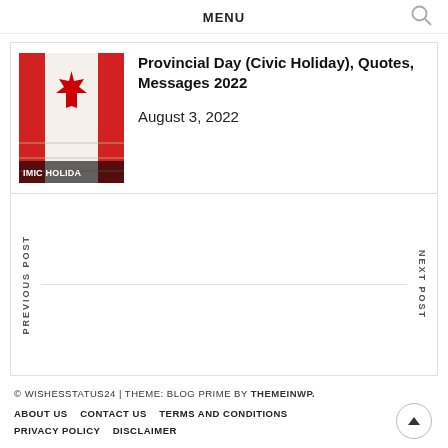MENU
Provincial Day (Civic Holiday), Quotes, Messages 2022
August 3, 2022
PREVIOUS POST
NEXT POST
© WISHESSTATUS24 | THEME: BLOG PRIME BY THEMEINWP.
ABOUT US  CONTACT US  TERMS AND CONDITIONS  PRIVACY POLICY  DISCLAIMER